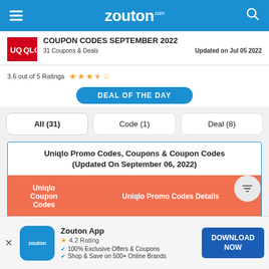zouton.com
COUPON CODES SEPTEMBER 2022
31 Coupons & Deals   Updated on Jul 05 2022
3.6 out of 5 Ratings ★★★½☆
DEAL OF THE DAY
All (31)
Code (1)
Deal (8)
Uniqlo Promo Codes, Coupons & Coupon Codes (Updated On September 06, 2022)
| Uniqlo Coupon Codes | Uniqlo Promo Codes Details |
| --- | --- |
| Uniqlo Sitewide | Uniqlo 75% discount applicable on clothing, footwear, and fashion |
Zouton App
4.2 Rating
100% Exclusive Offers & Coupons
Shop & Save on 500+ Online Brands
DOWNLOAD NOW